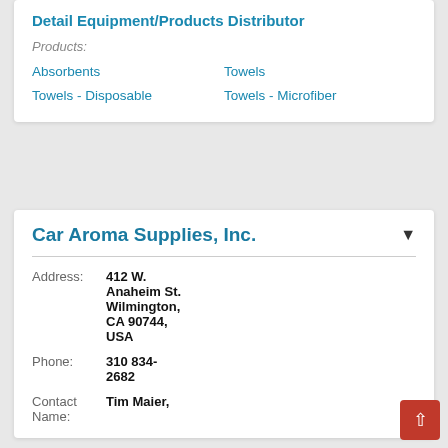Detail Equipment/Products Distributor
Products:
Absorbents
Towels
Towels - Disposable
Towels - Microfiber
Car Aroma Supplies, Inc.
Address: 412 W. Anaheim St. Wilmington, CA 90744, USA
Phone: 310 834-2682
Contact Name: Tim Maier,